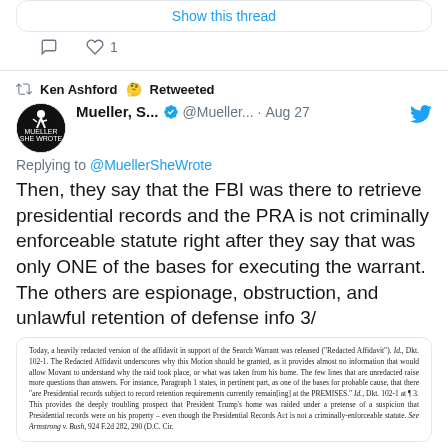Show this thread
1 like
Ken Ashford 🤔 Retweeted
Mueller, S... ✔ @Mueller... · Aug 27
Replying to @MuellerSheWrote
Then, they say that the FBI was there to retrieve presidential records and the PRA is not criminally enforceable statute right after they say that was only ONE of the bases for executing the warrant. The others are espionage, obstruction, and unlawful retention of defense info 3/
[Figure (screenshot): Screenshot of a legal document / court filing text discussing a redacted affidavit in support of a Search Warrant, mentioning Presidential records and the Presidential Records Act.]